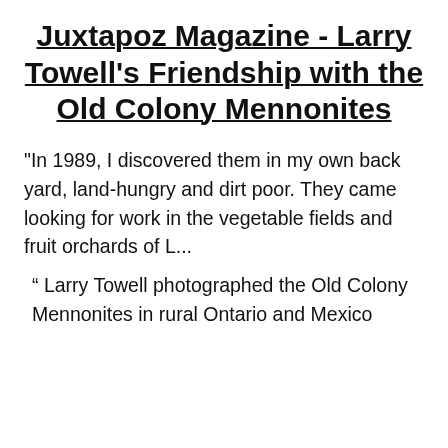Juxtapoz Magazine - Larry Towell's Friendship with the Old Colony Mennonites
"In 1989, I discovered them in my own back yard, land-hungry and dirt poor. They came looking for work in the vegetable fields and fruit orchards of L...
“ Larry Towell photographed the Old Colony Mennonites in rural Ontario and Mexico